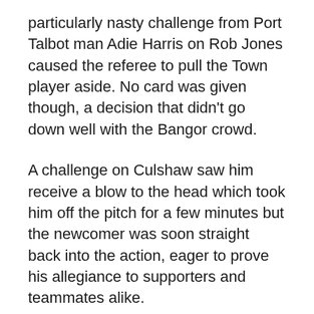particularly nasty challenge from Port Talbot man Adie Harris on Rob Jones caused the referee to pull the Town player aside. No card was given though, a decision that didn't go down well with the Bangor crowd.
A challenge on Culshaw saw him receive a blow to the head which took him off the pitch for a few minutes but the newcomer was soon straight back into the action, eager to prove his allegiance to supporters and teammates alike.
Both teams spent the last thirty minutes of the game pushing back and forth, each with a number of chances but never enough to get the win.
Bangor were plagued with yet another injury this time